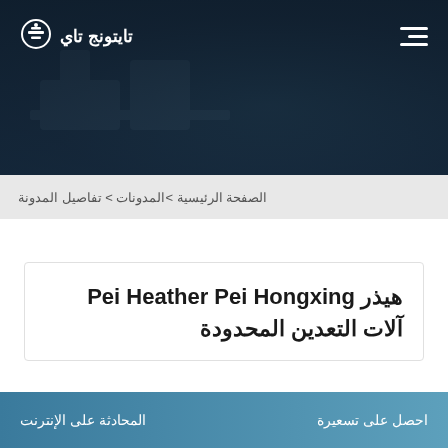تايتونج تاي
الصفحة الرئيسية > المدونات > تفاصيل المدونة
هيذر Pei Heather Pei Hongxing آلات التعدين المحدودة
المحادثة على الإنترنت | احصل على تسعيرة